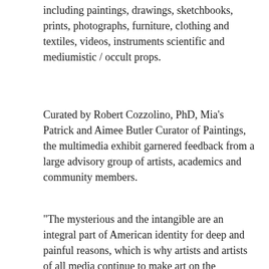including paintings, drawings, sketchbooks, prints, photographs, furniture, clothing and textiles, videos, instruments scientific and mediumistic / occult props.
Curated by Robert Cozzolino, PhD, Mia's Patrick and Aimee Butler Curator of Paintings, the multimedia exhibit garnered feedback from a large advisory group of artists, academics and community members.
“The mysterious and the intangible are an integral part of American identity for deep and painful reasons, which is why artists and artists of all media continue to make art on the supernatural,” Cozzolino said. , who began research for the exhibit in 2016. â€œAt its heart, this exhibit is about humanity’s imaginative capacity to consider what lies beyond tangible existence, and how that is reflected in visual culture. ‘Supernatural America’ brings together American artists who have explored even the most incomprehensible or impossible ideas. The exhibition